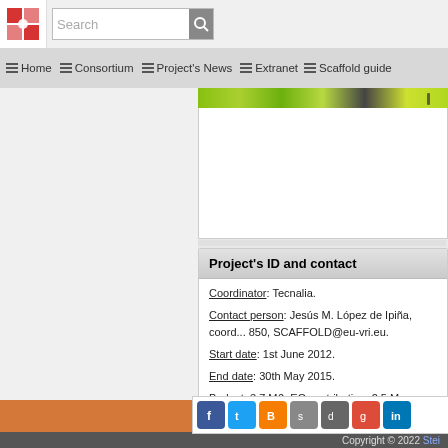Search | Home | Consortium | Project's News | Extranet | Scaffold guide
[Figure (screenshot): Green banner image strip at top of right column]
Project's ID and contact
Coordinator: Tecnalia.
Contact person: Jesús M. López de Ipiña, coord... 850, SCAFFOLD@eu-vri.eu.
Start date: 1st June 2012.
End date: 30th May 2015.
Budget: 3.7 M€- EC contribution: 2.5 M.
Grant Agreement Nr: NMP4-SL- 2012-280535.
Copyright © 2022 Stei...